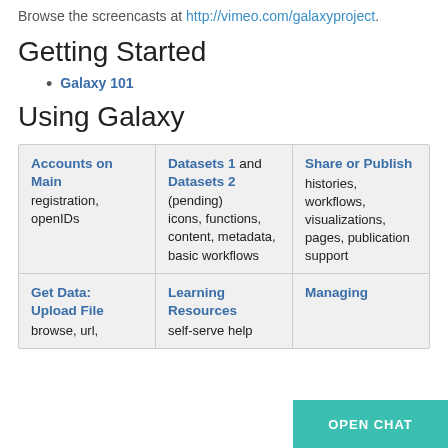Browse the screencasts at http://vimeo.com/galaxyproject.
Getting Started
Galaxy 101
Using Galaxy
| Accounts on Main | Datasets 1 and Datasets 2 | Share or Publish |
| --- | --- | --- |
| registration, openIDs | (pending)
icons, functions, content, metadata, basic workflows | histories, workflows, visualizations, pages, publication support |
| Get Data: Upload File
browse, url, | Learning Resources
self-serve help | Managing |